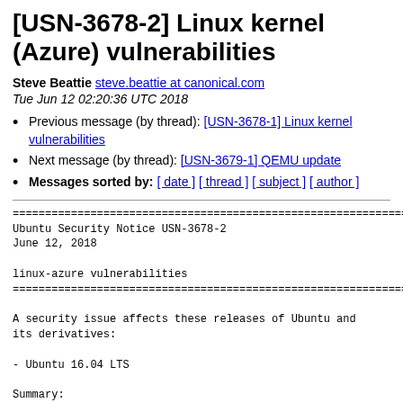[USN-3678-2] Linux kernel (Azure) vulnerabilities
Steve Beattie steve.beattie at canonical.com
Tue Jun 12 02:20:36 UTC 2018
Previous message (by thread): [USN-3678-1] Linux kernel vulnerabilities
Next message (by thread): [USN-3679-1] QEMU update
Messages sorted by: [ date ] [ thread ] [ subject ] [ author ]
==============================================================
Ubuntu Security Notice USN-3678-2
June 12, 2018

linux-azure vulnerabilities
==============================================================

A security issue affects these releases of Ubuntu and
its derivatives:

- Ubuntu 16.04 LTS

Summary: